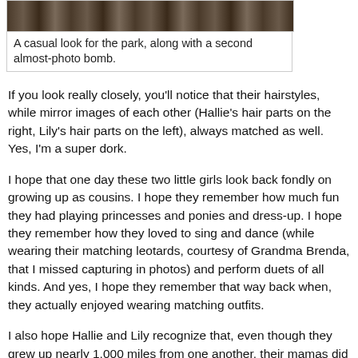[Figure (photo): Partial photo at top of page showing a casual outdoor scene, cropped to show only the bottom strip of the image.]
A casual look for the park, along with a second almost-photo bomb.
If you look really closely, you'll notice that their hairstyles, while mirror images of each other (Hallie's hair parts on the right, Lily's hair parts on the left), always matched as well. Yes, I'm a super dork.
I hope that one day these two little girls look back fondly on growing up as cousins. I hope they remember how much fun they had playing princesses and ponies and dress-up. I hope they remember how they loved to sing and dance (while wearing their matching leotards, courtesy of Grandma Brenda, that I missed capturing in photos) and perform duets of all kinds. And yes, I hope they remember that way back when, they actually enjoyed wearing matching outfits.
I also hope Hallie and Lily recognize that, even though they grew up nearly 1,000 miles from one another, their mamas did the very best they could to build the foundation for and then foster a strong, supportive, and life-long relationship between the two of them...that their mamas did the very best they could to give them the next best thing to a true sister.